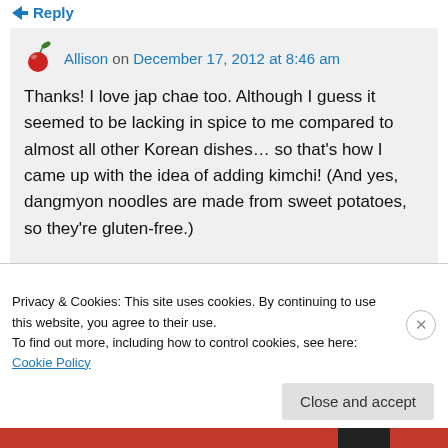Reply
Allison on December 17, 2012 at 8:46 am
Thanks! I love jap chae too. Although I guess it seemed to be lacking in spice to me compared to almost all other Korean dishes… so that's how I came up with the idea of adding kimchi! (And yes, dangmyon noodles are made from sweet potatoes, so they're gluten-free.)
Privacy & Cookies: This site uses cookies. By continuing to use this website, you agree to their use.
To find out more, including how to control cookies, see here: Cookie Policy
Close and accept